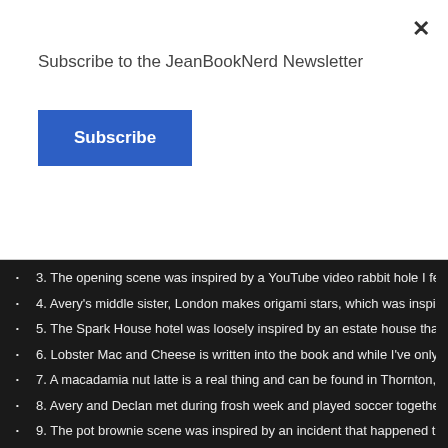Subscribe to the JeanBookNerd Newsletter
Subscribe
3. The opening scene was inspired by a YouTube video rabbit hole I fell do... horsing.
4. Avery's middle sister, London makes origami stars, which was inspired b... origami star addict and also turned me into one in the process.
5. The Spark House hotel was loosely inspired by an estate house that wa... plotted out the original series with my agent.
6. Lobster Mac and Cheese is written into the book and while I've only eve... waters when I write or think about it.
7. A macadamia nut latte is a real thing and can be found in Thornton, Ont...
8. Avery and Declan met during frosh week and played soccer together in... grade 5 for the school team (I think they were hard up for players) and I ca... I kicked the ball and it got air.
9. The pot brownie scene was inspired by an incident that happened to a f... of special gummies and proceeded to have a twenty-four hour nap.
10. Thor makes an appearance a few times throughout the book, this is be... comic movies and Thor, in general.